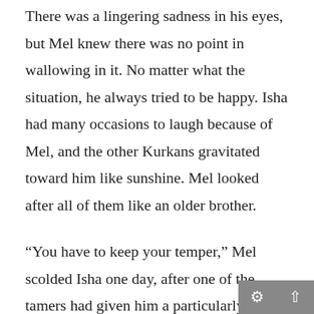There was a lingering sadness in his eyes, but Mel knew there was no point in wallowing in it. No matter what the situation, he always tried to be happy. Isha had many occasions to laugh because of Mel, and the other Kurkans gravitated toward him like sunshine. Mel looked after all of them like an older brother.
“You have to keep your temper,” Mel scolded Isha one day, after one of the tamers had given him a particularly severe beating. This was funny because Isha always kept his mouth shut, no matter what the tamers did to him. “So typical.”